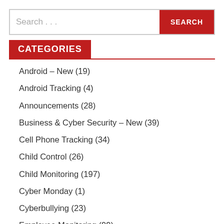[Figure (screenshot): Search bar with text input placeholder 'Search ...' and a red SEARCH button]
CATEGORIES
Android – New (19)
Android Tracking (4)
Announcements (28)
Business & Cyber Security – New (39)
Cell Phone Tracking (34)
Child Control (26)
Child Monitoring (197)
Cyber Monday (1)
Cyberbullying (23)
Employee Monitoring (99)
Events & Deals – New (74)